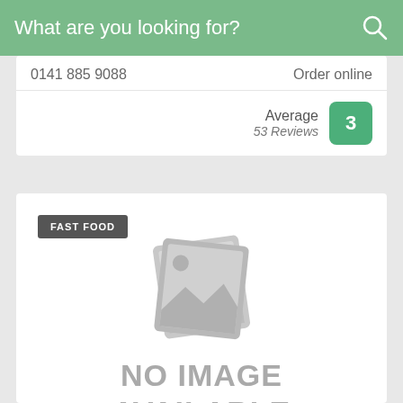What are you looking for?
0141 885 9088
Order online
Average
53 Reviews
3
FAST FOOD
[Figure (illustration): No image available placeholder with stacked photo icons]
NO IMAGE AVAILABLE
Renfrew Peri Peri Takeaway
4 Glebe St, Renfrew, PA4 8TU
EXCELLENT SPOTLESS FOOD, ALWAYS MADE FRESH AND